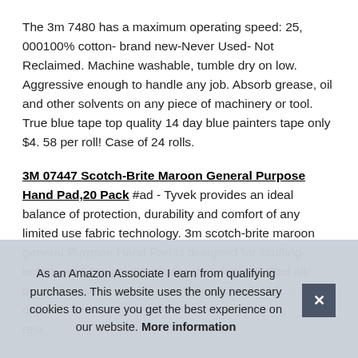The 3m 7480 has a maximum operating speed: 25, 000100% cotton- brand new-Never Used- Not Reclaimed. Machine washable, tumble dry on low. Aggressive enough to handle any job. Absorb grease, oil and other solvents on any piece of machinery or tool. True blue tape top quality 14 day blue painters tape only $4. 58 per roll! Case of 24 rolls.
3M 07447 Scotch-Brite Maroon General Purpose Hand Pad,20 Pack #ad - Tyvek provides an ideal balance of protection, durability and comfort of any limited use fabric technology. 3m scotch-brite maroon general Purpose Hand Pad is designed for scuffing before applying paint and primer-surfacer. Rolled all-purpose paper towel for general purpose cleaning and drying… resi… 2 in…
As an Amazon Associate I earn from qualifying purchases. This website uses the only necessary cookies to ensure you get the best experience on our website. More information